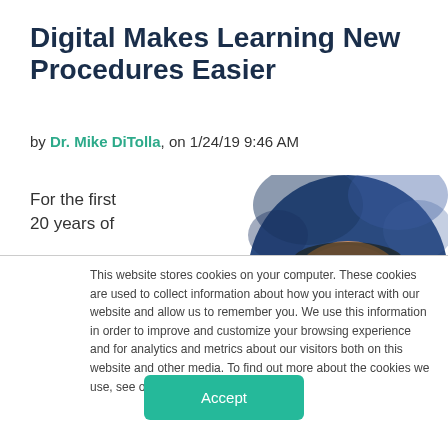Digital Makes Learning New Procedures Easier
by Dr. Mike DiTolla, on 1/24/19 9:46 AM
For the first 20 years of
[Figure (photo): Partial photo of a person's head with blue background, showing forehead and top of head in a semicircle crop]
This website stores cookies on your computer. These cookies are used to collect information about how you interact with our website and allow us to remember you. We use this information in order to improve and customize your browsing experience and for analytics and metrics about our visitors both on this website and other media. To find out more about the cookies we use, see our Privacy Policy.
Accept